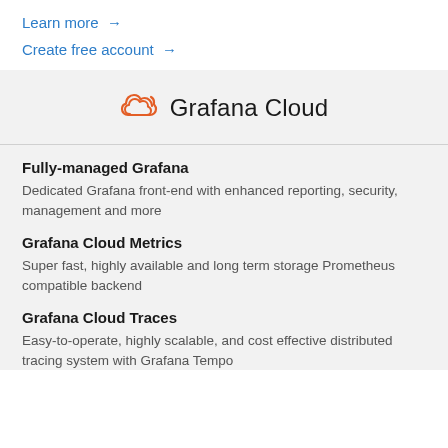Learn more →
Create free account →
[Figure (logo): Grafana Cloud logo with orange cloud icon and text 'Grafana Cloud']
Fully-managed Grafana
Dedicated Grafana front-end with enhanced reporting, security, management and more
Grafana Cloud Metrics
Super fast, highly available and long term storage Prometheus compatible backend
Grafana Cloud Traces
Easy-to-operate, highly scalable, and cost effective distributed tracing system with Grafana Tempo